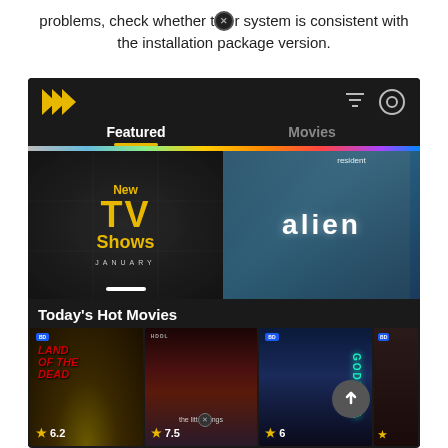problems, check whether t[x] system is consistent with the installation package version.
[Figure (screenshot): Screenshot of a streaming media app (dark theme) showing Featured and Movies tabs, a banner for 'New TV Shows January' and 'Resident Alien', and a 'Today's Hot Movies' section with movie posters: Land of the Dead (6.2), The Litterings (7.5), Godzilla (6), and a partial fourth poster.]